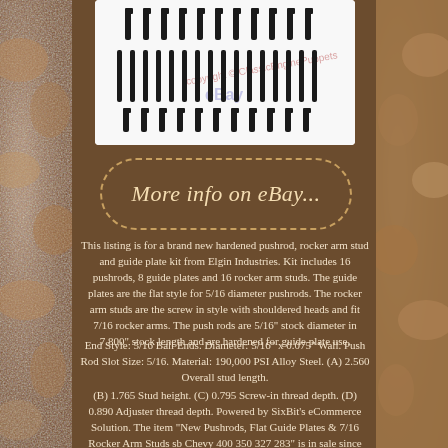[Figure (photo): Black bolt/pushrod/stud set arranged in rows on white background with eBay watermark]
More info on eBay...
This listing is for a brand new hardened pushrod, rocker arm stud and guide plate kit from Elgin Industries. Kit includes 16 pushrods, 8 guide plates and 16 rocker arm studs. The guide plates are the flat style for 5/16 diameter pushrods. The rocker arm studs are the screw in style with shouldered heads and fit 7/16 rocker arms. The push rods are 5/16" stock diameter in 7.800" stock length and are hardened for guide plate use.
End Style: 5/16 Ball Ends. Diameter: 5/16" x 0.075" Wall. Push Rod Slot Size: 5/16. Material: 190,000 PSI Alloy Steel. (A) 2.560 Overall stud length.
(B) 1.765 Stud height. (C) 0.795 Screw-in thread depth. (D) 0.890 Adjuster thread depth. Powered by SixBit's eCommerce Solution. The item "New Pushrods, Flat Guide Plates & 7/16 Rocker Arm Studs sb Chevy 400 350 327 283" is in sale since Sunday, November 12, 2017. This item is in the category "eBay